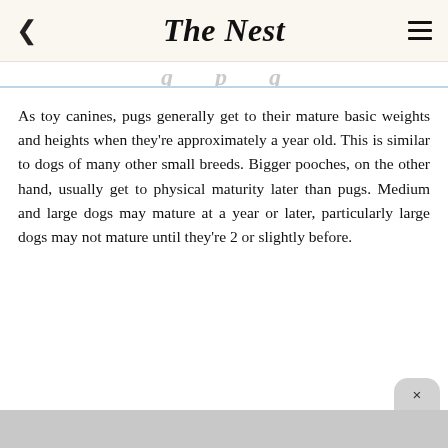The Nest
...g...p...g...
As toy canines, pugs generally get to their mature basic weights and heights when they're approximately a year old. This is similar to dogs of many other small breeds. Bigger pooches, on the other hand, usually get to physical maturity later than pugs. Medium and large dogs may mature at a year or later, particularly large dogs may not mature until they're 2 or slightly before.